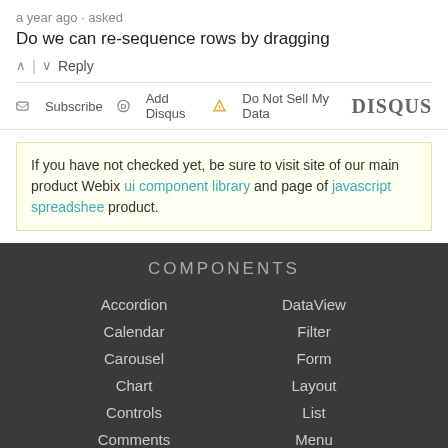Do we can re-sequence rows by dragging
^ | v Reply
Subscribe  Add Disqus  Do Not Sell My Data  DISQUS
If you have not checked yet, be sure to visit site of our main product Webix ui component library and page of javascript spreadshee product.
COMPONENTS
Accordion
Calendar
Carousel
Chart
Controls
Comments
DataTable
DataView
Filter
Form
Layout
List
Menu
Tabview
COMPLEX